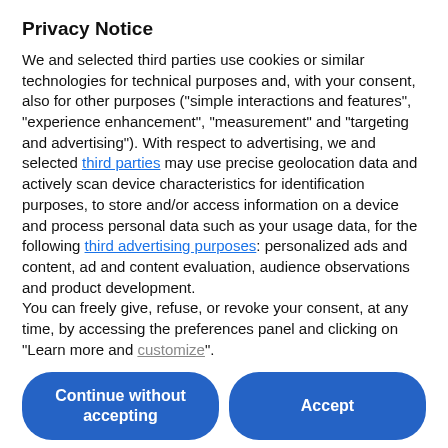Privacy Notice
We and selected third parties use cookies or similar technologies for technical purposes and, with your consent, also for other purposes ("simple interactions and features", "experience enhancement", "measurement" and "targeting and advertising"). With respect to advertising, we and selected third parties may use precise geolocation data and actively scan device characteristics for identification purposes, to store and/or access information on a device and process personal data such as your usage data, for the following third advertising purposes: personalized ads and content, ad and content evaluation, audience observations and product development.
You can freely give, refuse, or revoke your consent, at any time, by accessing the preferences panel and clicking on "Learn more and customize".
Continue without accepting
Accept
Learn more and customize